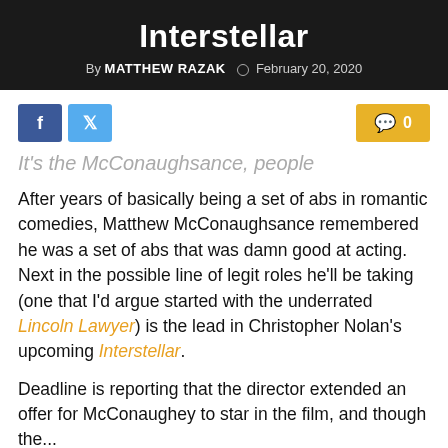Interstellar
By MATTHEW RAZAK  February 20, 2020
It's the McConaughsance, people
After years of basically being a set of abs in romantic comedies, Matthew McConaughsance remembered he was a set of abs that was damn good at acting. Next in the possible line of legit roles he'll be taking (one that I'd argue started with the underrated Lincoln Lawyer) is the lead in Christopher Nolan's upcoming Interstellar.
Deadline is reporting that the director extended an offer for McConaughey to star in the film, and though the...